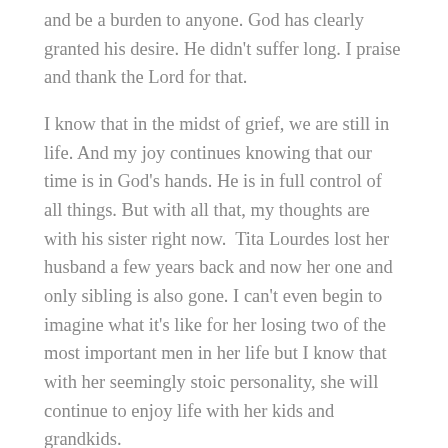and be a burden to anyone. God has clearly granted his desire. He didn't suffer long. I praise and thank the Lord for that.
I know that in the midst of grief, we are still in life. And my joy continues knowing that our time is in God's hands. He is in full control of all things. But with all that, my thoughts are with his sister right now.  Tita Lourdes lost her husband a few years back and now her one and only sibling is also gone. I can't even begin to imagine what it's like for her losing two of the most important men in her life but I know that with her seemingly stoic personality, she will continue to enjoy life with her kids and grandkids.